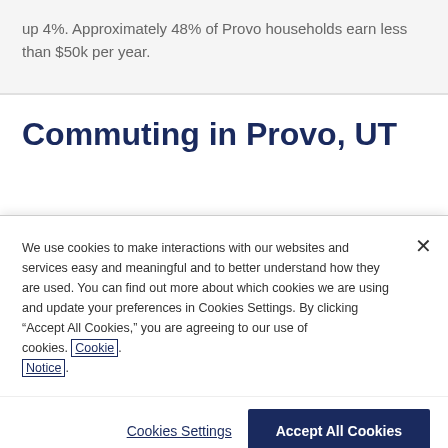up 4%. Approximately 48% of Provo households earn less than $50k per year.
Commuting in Provo, UT
We use cookies to make interactions with our websites and services easy and meaningful and to better understand how they are used. You can find out more about which cookies we are using and update your preferences in Cookies Settings. By clicking “Accept All Cookies,” you are agreeing to our use of cookies. Cookie Notice.
Cookies Settings
Accept All Cookies